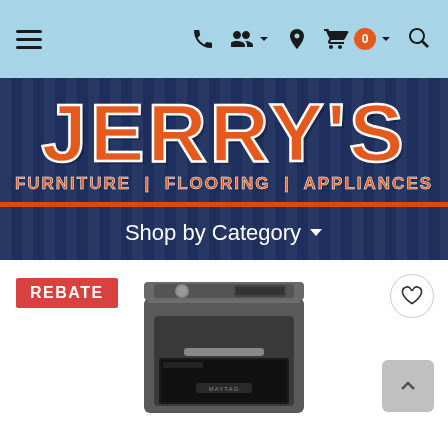Jerry's Furniture | Flooring | Appliances — navigation bar with hamburger menu, phone, account, location, cart (0), search icons
[Figure (logo): Jerry's Furniture | Flooring | Appliances logo on dark navy blue striped background with orange text and white stroke. Below logo: 'Shop by Category' dropdown menu link in white text.]
[Figure (photo): Maytag top-load washer or dryer in metallic grey/charcoal finish, viewed from front-top angle, shown on white background with REBATE badge in red at top left, heart/wishlist button at top right, and scroll-to-top button at bottom right.]